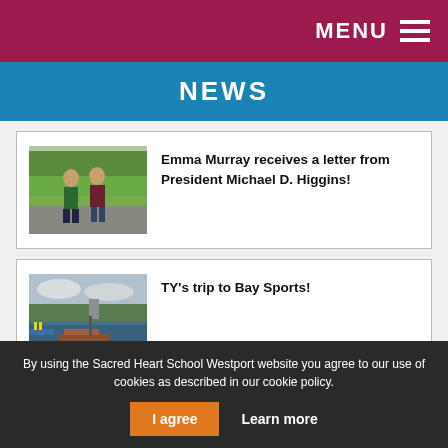MENU
NEWS
[Figure (photo): Two people standing outdoors on a path with trees and green lawn in background]
Emma Murray receives a letter from President Michael D. Higgins!
[Figure (photo): A wooden boat on a lake with water sports equipment and structures in the background]
TY's trip to Bay Sports!
By using the Sacred Heart School Westport website you agree to our use of cookies as described in our cookie policy.
I agree   Learn more